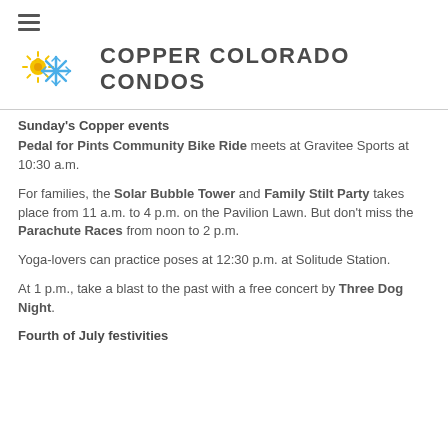[Figure (logo): Copper Colorado Condos logo with sun and snowflake icons and bold text]
Sunday's Copper events
Pedal for Pints Community Bike Ride meets at Gravitee Sports at 10:30 a.m.
For families, the Solar Bubble Tower and Family Stilt Party takes place from 11 a.m. to 4 p.m. on the Pavilion Lawn. But don't miss the Parachute Races from noon to 2 p.m.
Yoga-lovers can practice poses at 12:30 p.m. at Solitude Station.
At 1 p.m., take a blast to the past with a free concert by Three Dog Night.
Fourth of July festivities